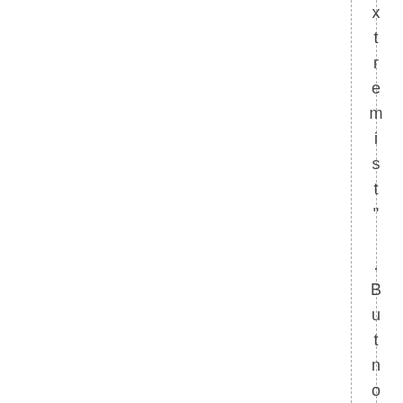xtremist". But nowhere, stopped